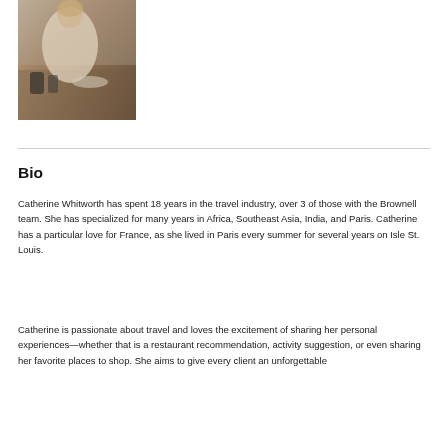[Figure (photo): Person in a kitchen or dining setting, blurred/low-resolution photo]
Bio
Catherine Whitworth has spent 18 years in the travel industry, over 3 of those with the Brownell team. She has specialized for many years in Africa, Southeast Asia, India, and Paris. Catherine has a particular love for France, as she lived in Paris every summer for several years on Isle St. Louis.
Catherine is passionate about travel and loves the excitement of sharing her personal experiences—whether that is a restaurant recommendation, activity suggestion, or even sharing her favorite places to shop. She aims to give every client an unforgettable experience with the biggest payoff for their budget. She wants to be a client's go-to travel advisor for life.